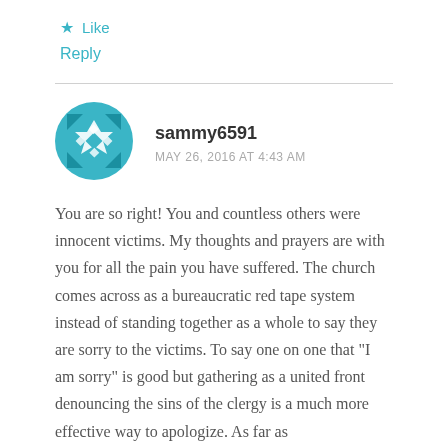★ Like
Reply
[Figure (illustration): Circular avatar with a teal/blue geometric snowflake/star pattern on a blue background]
sammy6591
MAY 26, 2016 AT 4:43 AM
You are so right! You and countless others were innocent victims. My thoughts and prayers are with you for all the pain you have suffered. The church comes across as a bureaucratic red tape system instead of standing together as a whole to say they are sorry to the victims. To say one on one that "I am sorry" is good but gathering as a united front denouncing the sins of the clergy is a much more effective way to apologize. As far as